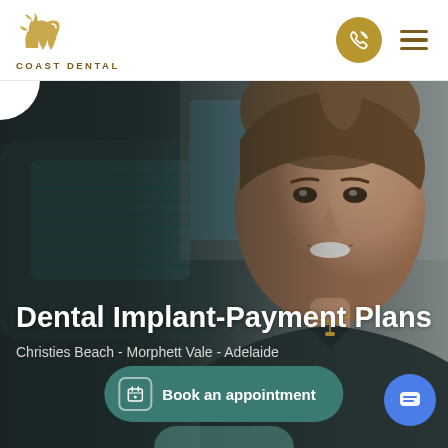[Figure (logo): Coast Dental logo: palm tree and tooth icon in gold, with text COAST DENTAL below]
[Figure (photo): A smiling female dental professional in dark scrubs, with dental equipment visible in the background]
Dental Implant-Payment Plans
Christies Beach - Morphett Vale - Adelaide
Book an appointment